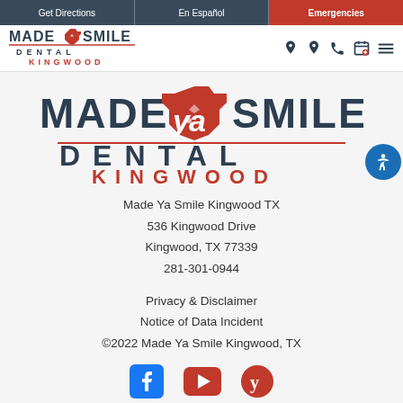Get Directions | En Español | Emergencies
[Figure (logo): Made Ya Smile Dental Kingwood logo - small header version with Texas state shape]
[Figure (logo): Made Ya Smile Dental Kingwood large centered logo with Texas state shape, red line divider]
Made Ya Smile Kingwood TX
536 Kingwood Drive
Kingwood, TX 77339
281-301-0944
Privacy & Disclaimer
Notice of Data Incident
©2022 Made Ya Smile Kingwood, TX